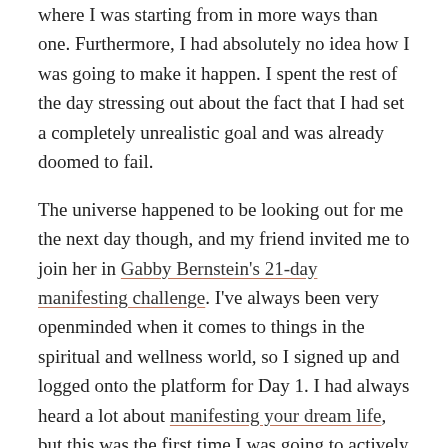where I was starting from in more ways than one. Furthermore, I had absolutely no idea how I was going to make it happen. I spent the rest of the day stressing out about the fact that I had set a completely unrealistic goal and was already doomed to fail.
The universe happened to be looking out for me the next day though, and my friend invited me to join her in Gabby Bernstein's 21-day manifesting challenge. I've always been very openminded when it comes to things in the spiritual and wellness world, so I signed up and logged onto the platform for Day 1. I had always heard a lot about manifesting your dream life, but this was the first time I was going to actively try to create something I wanted and I was a bit nervous about looking like a fool if it didn't work. However, the course walked me through a series of steps and mental exercises that felt more like fun than work. There were some key steps I learned to